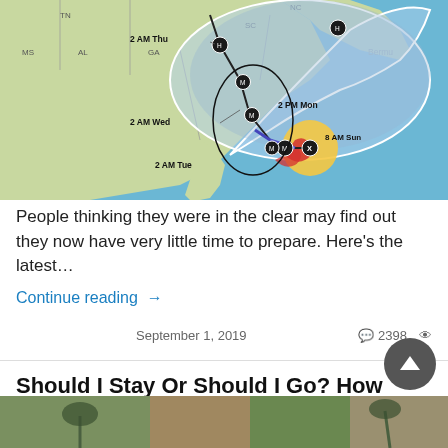[Figure (map): Hurricane track forecast map showing southeastern US coastline with storm track markers labeled 8 AM Sun, 2 PM Mon, 2 AM Tue, 2 AM Wed, 2 AM Thu, and H positions over Atlantic. Cone of uncertainty shown with white outline. States MS, AL, TN, GA, SC, NC visible.]
People thinking they were in the clear may find out they now have very little time to prepare. Here's the latest…
Continue reading →
September 1, 2019  💬 2398 👁
Should I Stay Or Should I Go? How To Decide Whether To Bug Out Or In During An Emergency
[Figure (photo): Partial thumbnail image strip at bottom of page showing outdoor/nature scene]